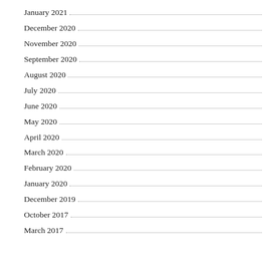January 2021
December 2020
November 2020
September 2020
August 2020
July 2020
June 2020
May 2020
April 2020
March 2020
February 2020
January 2020
December 2019
October 2017
March 2017